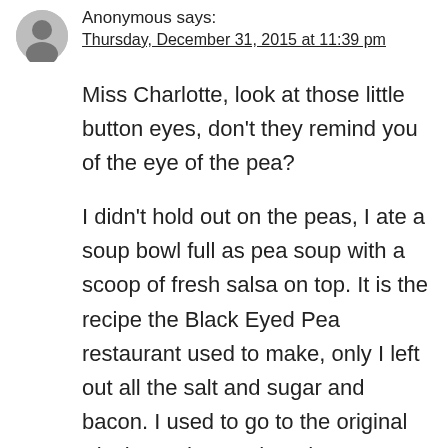Anonymous says:
Thursday, December 31, 2015 at 11:39 pm
Miss Charlotte, look at those little button eyes, don't they remind you of the eye of the pea?
I didn't hold out on the peas, I ate a soup bowl full as pea soup with a scoop of fresh salsa on top. It is the recipe the Black Eyed Pea restaurant used to make, only I left out all the salt and sugar and bacon. I used to go to the original Black Eyed Pea when there was just one down in River Oaks. If you were from Houston we just called it the Pea...